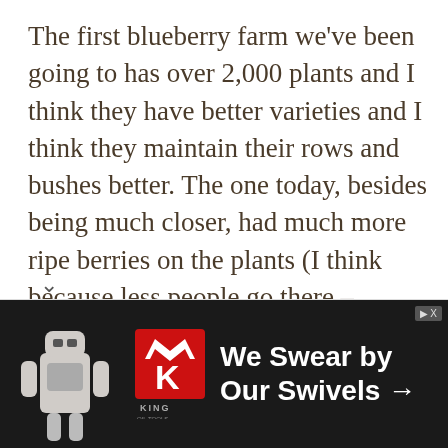The first blueberry farm we've been going to has over 2,000 plants and I think they have better varieties and I think they maintain their rows and bushes better. The one today, besides being much closer, had much more ripe berries on the plants (I think because less people go there – [redacted] path from the Jop[redacted] went to the first fa[redacted] hours and we pick[redacted] today in about 40[redacted]
[Figure (screenshot): Advertisement banner for King Oil Tools showing a robotic figure and the text 'We Swear by Our Swivels →' with a play button and close button in the top right corner.]